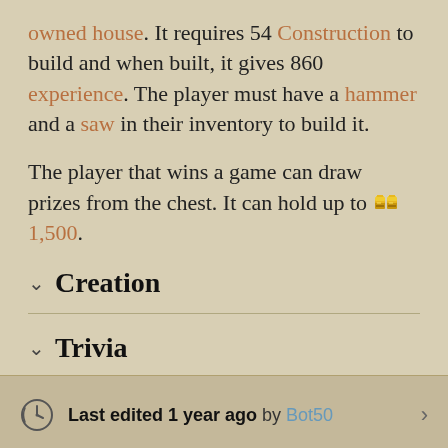owned house. It requires 54 Construction to build and when built, it gives 860 experience. The player must have a hammer and a saw in their inventory to build it.
The player that wins a game can draw prizes from the chest. It can hold up to [coin icon] 1,500.
Creation
Trivia
Last edited 1 year ago by Bot50